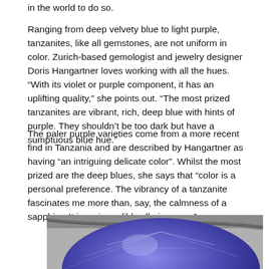in the world to do so.
Ranging from deep velvety blue to light purple, tanzanites, like all gemstones, are not uniform in color. Zurich-based gemologist and jewelry designer Doris Hangartner loves working with all the hues. “With its violet or purple component, it has an uplifting quality,” she points out. “The most prized tanzanites are vibrant, rich, deep blue with hints of purple. They shouldn’t be too dark but have a sumptuous blue hue.”
The paler purple varieties come from a more recent find in Tanzania and are described by Hangartner as having “an intriguing delicate color”. Whilst the most prized are the deep blues, she says that “color is a personal preference. The vibrancy of a tanzanite fascinates me more than, say, the calmness of a sapphire. It is an incredibly alluring gem.”
[Figure (photo): Close-up photograph of a blue-purple tanzanite gemstone with faceted cuts showing deep blue and violet hues, partially framed by what appears to be silver jewelry setting against a gray background.]